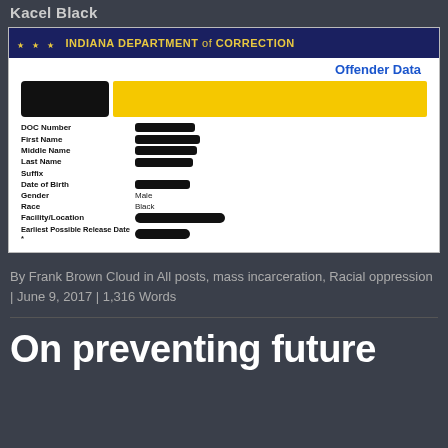Kacel Black
[Figure (screenshot): Indiana Department of Correction offender data form with redacted personal information fields including DOC Number, First Name, Middle Name, Last Name, Suffix, Date of Birth (all redacted), Gender: Male, Race: Black, Facility/Location (redacted), Earliest Possible Release Date (redacted).]
By Frank Brown Cloud in All posts, mass incarceration, Racial oppression | June 9, 2017 | 1,316 Words
On preventing future